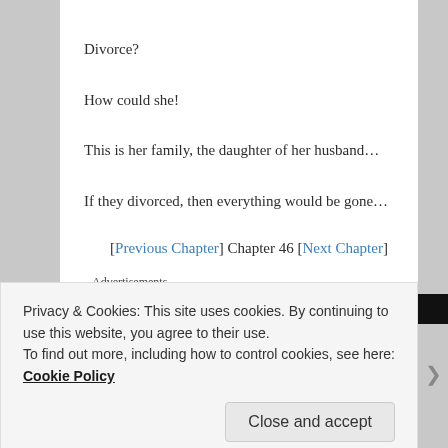Divorce?
How could she!
This is her family, the daughter of her husband…
If they divorced, then everything would be gone…
[Previous Chapter] Chapter 46 [Next Chapter]
Advertisements
Privacy & Cookies: This site uses cookies. By continuing to use this website, you agree to their use.
To find out more, including how to control cookies, see here: Cookie Policy
Close and accept